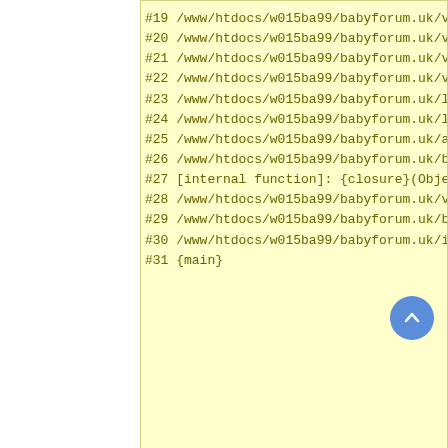#19 /www/htdocs/w015ba99/babyforum.uk/vendor/vanilla/garden
#20 /www/htdocs/w015ba99/babyforum.uk/vendor/vanilla/garden
#21 /www/htdocs/w015ba99/babyforum.uk/vendor/vanilla/garden
#22 /www/htdocs/w015ba99/babyforum.uk/vendor/vanilla/garden
#23 /www/htdocs/w015ba99/babyforum.uk/library/core/class.gd
#24 /www/htdocs/w015ba99/babyforum.uk/library/core/class.gd
#25 /www/htdocs/w015ba99/babyforum.uk/applications/dashboar
#26 /www/htdocs/w015ba99/babyforum.uk/bootstrap.php(311): i
#27 [internal function]: {closure}(Object(Garden\Container\
#28 /www/htdocs/w015ba99/babyforum.uk/vendor/vanilla/garden
#29 /www/htdocs/w015ba99/babyforum.uk/bootstrap.php(324): G
#30 /www/htdocs/w015ba99/babyforum.uk/index.php(22): requir
#31 {main}
Notice
A non-numeric value encountered
#0 /www/htdocs/w015ba99/babyforum.uk/applications/api/local
#1 /www/htdocs/w015ba99/babyforum.uk/library/core/cla  con
#2 /www/htdocs/w015ba99/babyforum.uk/library/core/clas con
#3 /www/htdocs/w015ba99/babyforum.uk/library/core/class.loc
#4 /www/htdocs/w015ba99/babyforum.uk/library/core/class.loc